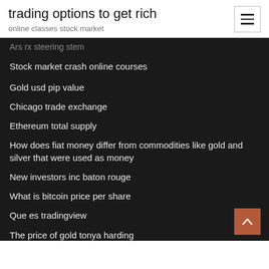trading options to get rich
online classes stock market
Ars rx steering stem
Stock market crash online courses
Gold usd pip value
Chicago trade exchange
Ethereum total supply
How does fiat money differ from commodities like gold and silver that were used as money
New investors inc baton rouge
What is bitcoin price per share
Que es tradingview
The price of gold tonya harding